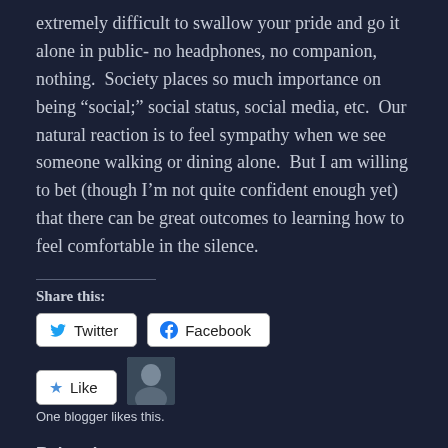extremely difficult to swallow your pride and go it alone in public- no headphones, no companion, nothing.  Society places so much importance on being “social;” social status, social media, etc.  Our natural reaction is to feel sympathy when we see someone walking or dining alone.  But I am willing to bet (though I’m not quite confident enough yet) that there can be great outcomes to learning how to feel comfortable in the silence.
Share this:
[Figure (screenshot): Twitter and Facebook share buttons]
[Figure (screenshot): Like button with star icon and blogger avatar photo]
One blogger likes this.
Related
The Impact of being “Just Friends” on a Young Adult
I’m Pretty Sure Racism is the Real Racism